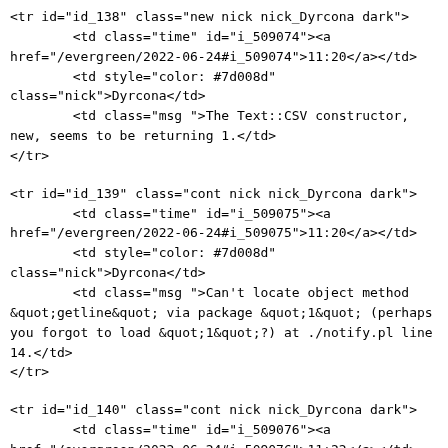<tr id="id_138" class="new nick nick_Dyrcona dark">
        <td class="time" id="i_509074"><a
href="/evergreen/2022-06-24#i_509074">11:20</a></td>
        <td style="color: #7d008d"
class="nick">Dyrcona</td>
        <td class="msg ">The Text::CSV constructor,
new, seems to be returning 1.</td>
</tr>
<tr id="id_139" class="cont nick nick_Dyrcona dark">
        <td class="time" id="i_509075"><a
href="/evergreen/2022-06-24#i_509075">11:20</a></td>
        <td style="color: #7d008d"
class="nick">Dyrcona</td>
        <td class="msg ">Can't locate object method
&quot;getline&quot; via package &quot;1&quot; (perhaps
you forgot to load &quot;1&quot;?) at ./notify.pl line
14.</td>
</tr>
<tr id="id_140" class="cont nick nick_Dyrcona dark">
        <td class="time" id="i_509076"><a
href="/evergreen/2022-06-24#i_509076">11:22</a></td>
        <td style="color: #7d008d"
class="nick">Dyrcona</td>
        <td class="msg ">But, my use of it is no
different from the other files where I created a CSV...
</td>